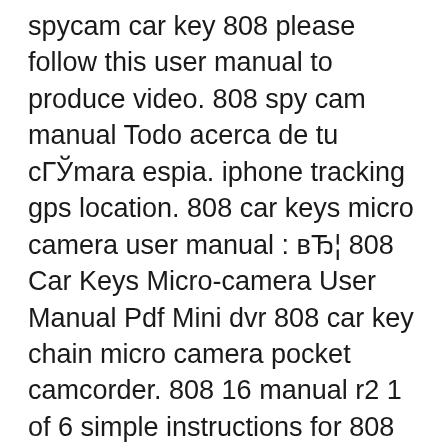spycam car key 808 please follow this user manual to produce video. 808 spy cam manual Todo acerca de tu сГЎmara espia. iphone tracking gps location. 808 car keys micro camera user manual : вЂ¦ 808 Car Keys Micro-camera User Manual Pdf Mini dvr 808 car key chain micro camera pocket camcorder. 808 16 manual r2 1 of 6 simple instructions for 808 hd car key micro camera (16).
Alibaba.com offers 42 car keys micro camera manual products. About 66% of these are cctv camera, 16% are car black box, and 4% are video camera. A wide variety of car keys micro camera manual options are available to you, such as cmos, ccd. Find many great new